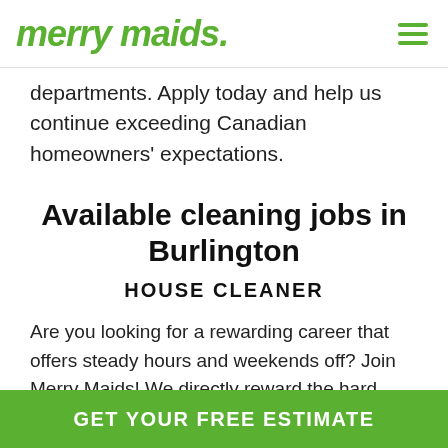merry maids.
departments. Apply today and help us continue exceeding Canadian homeowners' expectations.
Available cleaning jobs in Burlington
HOUSE CLEANER
Are you looking for a rewarding career that offers steady hours and weekends off? Join Merry Maids! We directly reward the hard work of our dedicated employees. We are looking for house cleaners that want to have a long career with Merry Maids. As a result, we're able to offer better
GET YOUR FREE ESTIMATE